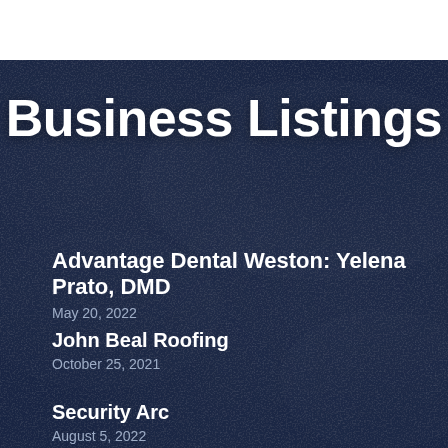Business Listings
Advantage Dental Weston: Yelena Prato, DMD
May 20, 2022
John Beal Roofing
October 25, 2021
Security Arc
August 5, 2022